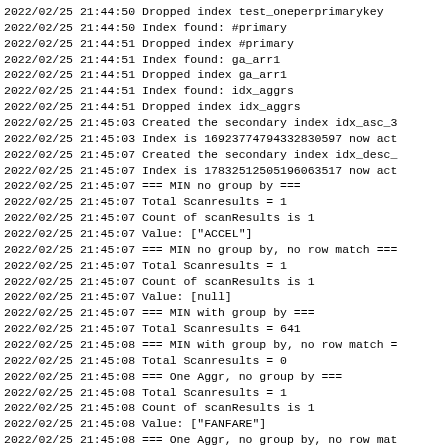2022/02/25 21:44:50 Dropped index test_oneperprimarykey
2022/02/25 21:44:50 Index found:  #primary
2022/02/25 21:44:51 Dropped index #primary
2022/02/25 21:44:51 Index found:  ga_arr1
2022/02/25 21:44:51 Dropped index ga_arr1
2022/02/25 21:44:51 Index found:  idx_aggrs
2022/02/25 21:44:51 Dropped index idx_aggrs
2022/02/25 21:45:03 Created the secondary index idx_asc_3
2022/02/25 21:45:03 Index is 1692377479433283059? now act
2022/02/25 21:45:07 Created the secondary index idx_desc_
2022/02/25 21:45:07 Index is 1783251250519606351? now act
2022/02/25 21:45:07 === MIN no group by ===
2022/02/25 21:45:07 Total Scanresults = 1
2022/02/25 21:45:07 Count of scanResults is 1
2022/02/25 21:45:07 Value: ["ACCEL"]
2022/02/25 21:45:07 === MIN no group by, no row match ===
2022/02/25 21:45:07 Total Scanresults = 1
2022/02/25 21:45:07 Count of scanResults is 1
2022/02/25 21:45:07 Value: [null]
2022/02/25 21:45:07 === MIN with group by ===
2022/02/25 21:45:07 Total Scanresults = 641
2022/02/25 21:45:08 === MIN with group by, no row match =
2022/02/25 21:45:08 Total Scanresults = 0
2022/02/25 21:45:08 === One Aggr, no group by ===
2022/02/25 21:45:08 Total Scanresults = 1
2022/02/25 21:45:08 Count of scanResults is 1
2022/02/25 21:45:08 Value: ["FANFARE"]
2022/02/25 21:45:08 === One Aggr, no group by, no row mat
2022/02/25 21:45:08 Total Scanresults = 1
2022/02/25 21:45:08 Count of scanResults is 1
2022/02/25 21:45:08 Value: [null]